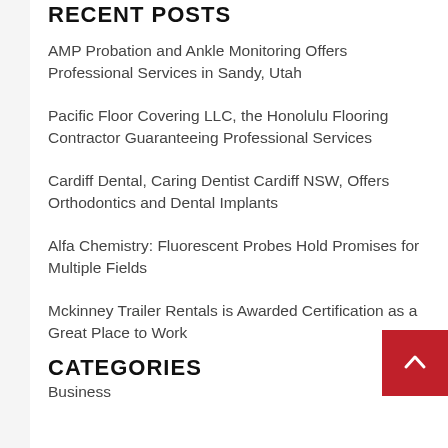RECENT POSTS
AMP Probation and Ankle Monitoring Offers Professional Services in Sandy, Utah
Pacific Floor Covering LLC, the Honolulu Flooring Contractor Guaranteeing Professional Services
Cardiff Dental, Caring Dentist Cardiff NSW, Offers Orthodontics and Dental Implants
Alfa Chemistry: Fluorescent Probes Hold Promises for Multiple Fields
Mckinney Trailer Rentals is Awarded Certification as a Great Place to Work
CATEGORIES
Business